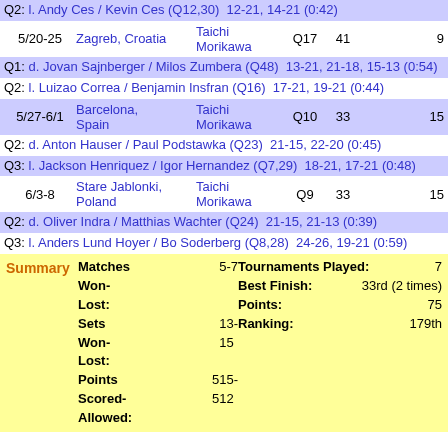| Date | Location | Partner | Result | Pos | Pts |
| --- | --- | --- | --- | --- | --- |
|  | Q2: l. Andy Ces / Kevin Ces (Q12,30)  12-21, 14-21 (0:42) |  |  |  |  |
| 5/20-25 | Zagreb, Croatia | Taichi Morikawa | Q17 | 41 | 9 |
|  | Q1: d. Jovan Sajnberger / Milos Zumbera (Q48)  13-21, 21-18, 15-13 (0:54) |  |  |  |  |
|  | Q2: l. Luizao Correa / Benjamin Insfran (Q16)  17-21, 19-21 (0:44) |  |  |  |  |
| 5/27-6/1 | Barcelona, Spain | Taichi Morikawa | Q10 | 33 | 15 |
|  | Q2: d. Anton Hauser / Paul Podstawka (Q23)  21-15, 22-20 (0:45) |  |  |  |  |
|  | Q3: l. Jackson Henriquez / Igor Hernandez (Q7,29)  18-21, 17-21 (0:48) |  |  |  |  |
| 6/3-8 | Stare Jablonki, Poland | Taichi Morikawa | Q9 | 33 | 15 |
|  | Q2: d. Oliver Indra / Matthias Wachter (Q24)  21-15, 21-13 (0:39) |  |  |  |  |
|  | Q3: l. Anders Lund Hoyer / Bo Soderberg (Q8,28)  24-26, 19-21 (0:59) |  |  |  |  |
| Summary | Matches Won-Lost | value | Tournaments Played | value |
| --- | --- | --- | --- | --- |
| Summary | Matches Won-Lost: | 5-7 | Tournaments Played: | 7 |
|  | Sets Won-Lost: | 13-15 | Best Finish: | 33rd (2 times) |
|  | Points Scored-Allowed: | 515-512 | Points: | 75 |
|  |  |  | Ranking: | 179th |